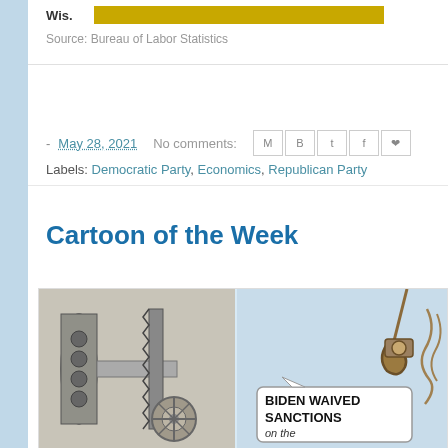[Figure (bar-chart): Horizontal bar for Wis. showing labor statistics value in gold/yellow color]
Source: Bureau of Labor Statistics
- May 28, 2021  No comments:
Labels: Democratic Party, Economics, Republican Party
Cartoon of the Week
[Figure (illustration): Political cartoon by Ramirez, Las Vegas Review-Journal, 2021 Creators.com, showing pipeline equipment on left and a crane hook with rope on right. Speech bubble reads: BIDEN WAIVED SANCTIONS on the]